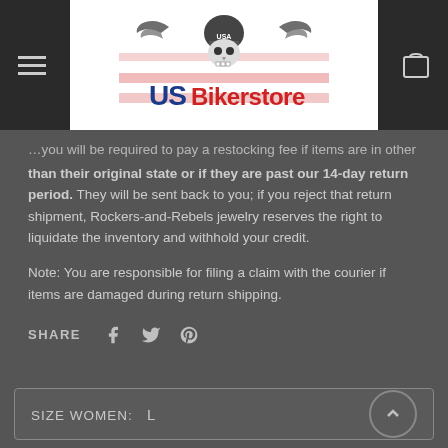[Figure (logo): US Bikerstore logo with skull wearing helmet with wings, American flag theme text]
than their original state or if they are past our 14-day return period. They will be sent back to you; if you reject that return shipment, Rockers-and-Rebels jewelry reserves the right to liquidate the inventory and withhold your credit.

Note: You are responsible for filing a claim with the courier if items are damaged during return shipping.
SHARE
SIZE WOMEN:  L